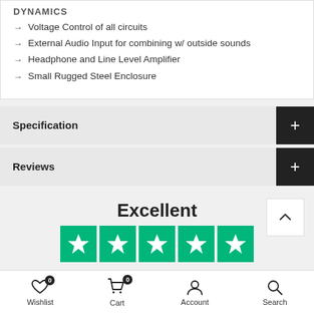DYNAMICS
Voltage Control of all circuits
External Audio Input for combining w/ outside sounds
Headphone and Line Level Amplifier
Small Rugged Steel Enclosure
Specification
Reviews
Excellent
[Figure (other): Trustpilot five green star rating boxes]
Wishlist 0   Cart 0   Account   Search